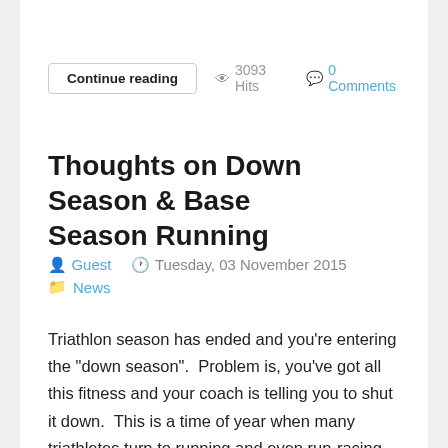Continue reading  👁 3093 Hits  💬 0 Comments
Thoughts on Down Season & Base Season Running
Guest  Tuesday, 03 November 2015
News
Triathlon season has ended and you're entering the "down season".  Problem is, you've got all this fitness and your coach is telling you to shut it down.  This is a time of year when many triathletes turn to running and even run-racing as a way to maintain fitness and stoke the competitive fires.  Generally, a good idea, but it